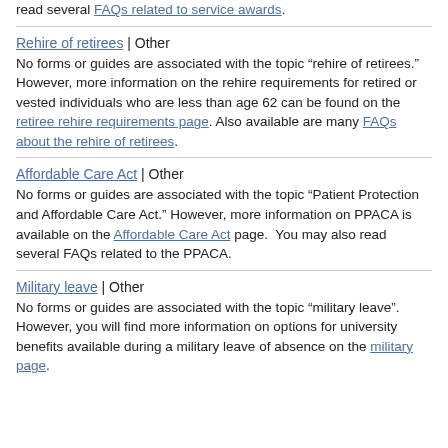read several FAQs related to service awards.
Rehire of retirees | Other
No forms or guides are associated with the topic “rehire of retirees.” However, more information on the rehire requirements for retired or vested individuals who are less than age 62 can be found on the retiree rehire requirements page. Also available are many FAQs about the rehire of retirees.
Affordable Care Act | Other
No forms or guides are associated with the topic “Patient Protection and Affordable Care Act.” However, more information on PPACA is available on the Affordable Care Act page.  You may also read several FAQs related to the PPACA.
Military leave | Other
No forms or guides are associated with the topic “military leave”. However, you will find more information on options for university benefits available during a military leave of absence on the military page.